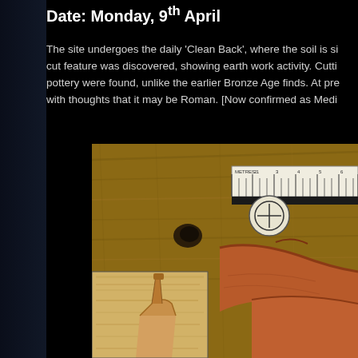Date: Monday, 9th April
The site undergoes the daily 'Clean Back', where the soil is si... cut feature was discovered, showing earth work activity. Cutti... pottery were found, unlike the earlier Bronze Age finds. At pre... with thoughts that it may be Roman. [Now confirmed as Medi...
[Figure (photo): Archaeological find photograph showing pottery shards on a wooden table surface with a metric ruler for scale, and an inset image of a wooden trowel with sandy soil]